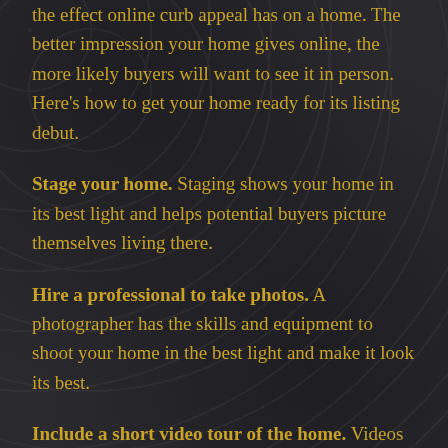the effect online curb appeal has on a home. The better impression your home gives online, the more likely buyers will want to see it in person. Here’s how to get your home ready for its listing debut.
Stage your home. Staging shows your home in its best light and helps potential buyers picture themselves living there.
Hire a professional to take photos. A photographer has the skills and equipment to shoot your home in the best light and make it look its best.
Include a short video tour of the home. Videos are becoming a popular way to give buyers a glimpse of the home before they step foot in it.